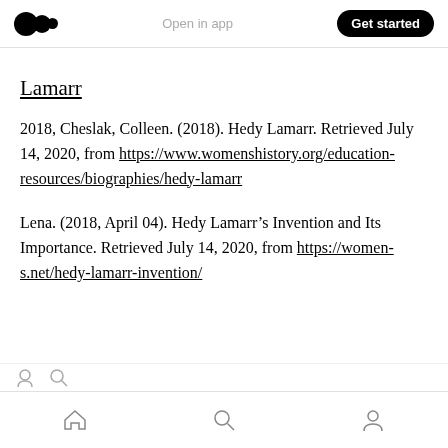Open in app | Get started
Lamarr
2018, Cheslak, Colleen. (2018). Hedy Lamarr. Retrieved July 14, 2020, from https://www.womenshistory.org/education-resources/biographies/hedy-lamarr
Lena. (2018, April 04). Hedy Lamarr’s Invention and Its Importance. Retrieved July 14, 2020, from https://women-s.net/hedy-lamarr-invention/
Home | Search | Profile